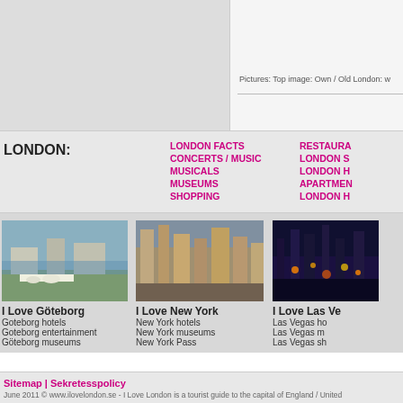[Figure (photo): Top left area showing a partial image, light gray placeholder]
Pictures: Top image: Own / Old London: w
LONDON:
LONDON FACTS
CONCERTS / MUSIC
MUSICALS
MUSEUMS
SHOPPING
RESTAURA...
LONDON S...
LONDON H...
APARTMEN...
LONDON H...
[Figure (photo): Photo of Göteborg waterfront with boats and buildings]
I Love Göteborg
Goteborg hotels
Goteborg entertainment
Göteborg museums
[Figure (photo): Photo of New York City skyline with tall buildings]
I Love New York
New York hotels
New York museums
New York Pass
[Figure (photo): Night photo of Las Vegas strip with bright lights]
I Love Las Ve...
Las Vegas ho...
Las Vegas m...
Las Vegas sh...
Sitemap | Sekretesspolicy
June 2011 © www.ilovelondon.se  -  I Love London is a tourist guide to the capital of England / United